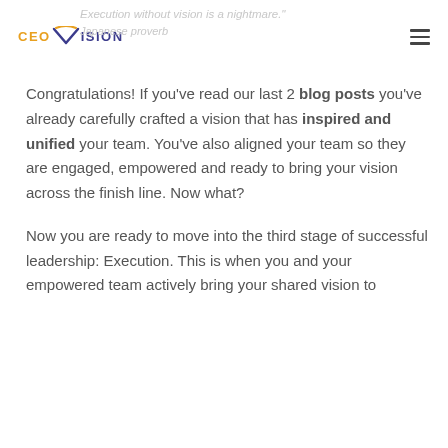CEO VISION | Execution without vision is a nightmare. — Japanese proverb
Congratulations! If you've read our last 2 blog posts you've already carefully crafted a vision that has inspired and unified your team. You've also aligned your team so they are engaged, empowered and ready to bring your vision across the finish line. Now what?
Now you are ready to move into the third stage of successful leadership: Execution. This is when you and your empowered team actively bring your shared vision to